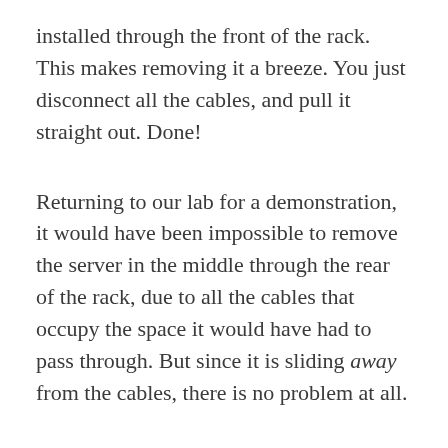installed through the front of the rack. This makes removing it a breeze. You just disconnect all the cables, and pull it straight out. Done!
Returning to our lab for a demonstration, it would have been impossible to remove the server in the middle through the rear of the rack, due to all the cables that occupy the space it would have had to pass through. But since it is sliding away from the cables, there is no problem at all.
Out through the front of the rack it slides. Easy!
While you are at it, dear switch manufacturer, you should also note that the servers in the pictures, like most servers on the market, have rack mount rails that do not require any